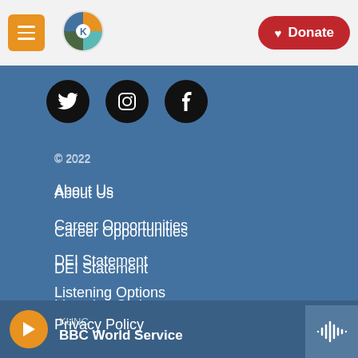KUNC - Navigation header with menu, logo, and Donate button
[Figure (logo): KUNC radio station logo - colorful circular logo with orange, teal, green colors]
[Figure (infographic): Social media icons: Twitter (bird), Instagram (camera), Facebook (f) - three black circles]
© 2022
About Us
Career Opportunities
DEI Statement
Listening Options
Privacy Policy
FCC Public File
KUNC — BBC World Service (audio player bar)